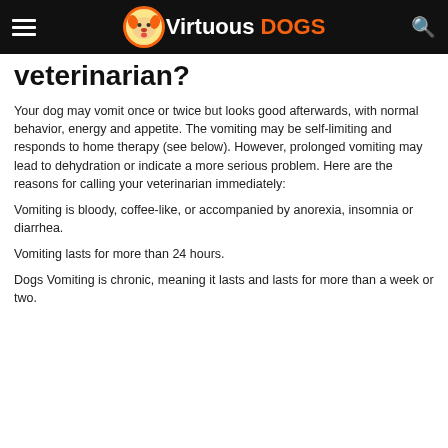Virtuous DOGS
veterinarian?
Your dog may vomit once or twice but looks good afterwards, with normal behavior, energy and appetite. The vomiting may be self-limiting and responds to home therapy (see below). However, prolonged vomiting may lead to dehydration or indicate a more serious problem. Here are the reasons for calling your veterinarian immediately:
Vomiting is bloody, coffee-like, or accompanied by anorexia, insomnia or diarrhea.
Vomiting lasts for more than 24 hours.
Dogs Vomiting is chronic, meaning it lasts and lasts for more than a week or two.